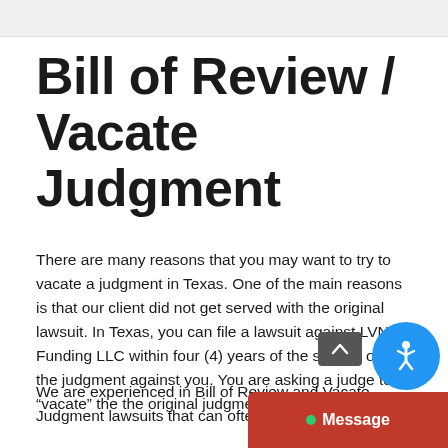Bill of Review / Vacate Judgment
There are many reasons that you may want to try to vacate a judgment in Texas. One of the main reasons is that our client did not get served with the original lawsuit. In Texas, you can file a lawsuit against LVNV Funding LLC within four (4) years of the signing of the judgment against you. You are asking a judge to “vacate” the the original judgment against you.
We are experienced in Bill of Review and Vacate Judgment lawsuits that can often yield good results for our clients.